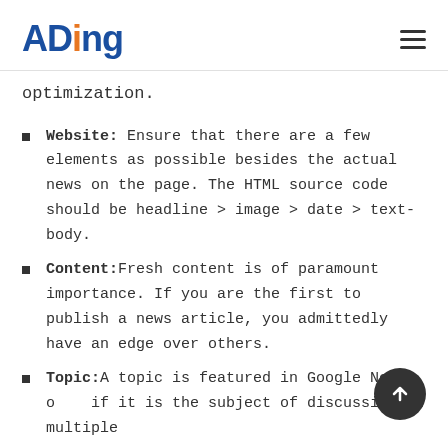ADing
optimization.
Website: Ensure that there are a few elements as possible besides the actual news on the page. The HTML source code should be headline > image > date > text-body.
Content: Fresh content is of paramount importance. If you are the first to publish a news article, you admittedly have an edge over others.
Topic: A topic is featured in Google News only if it is the subject of discussion on multiple